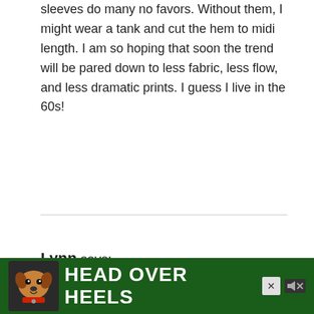sleeves do many no favors. Without them, I might wear a tank and cut the hem to midi length. I am so hoping that soon the trend will be pared down to less fabric, less flow, and less dramatic prints. I guess I live in the 60s!
Reply
Lynn says:
May 28, 2022 at 1:18 pm
The ruched blouse is a hard no for me – I am petite so that would be an exclusive look. I do like the idea of...
[Figure (other): Advertisement banner with green background showing a dog and text 'HEAD OVER HEELS' with a close button and mute icon]